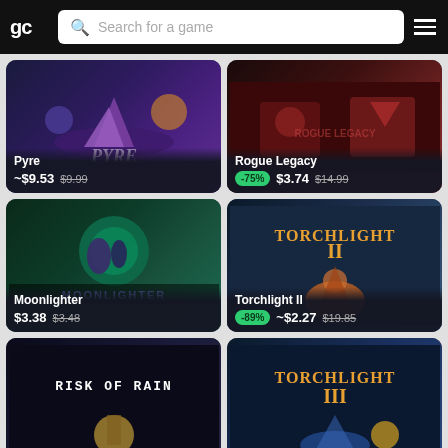gc | Search for a game
[Figure (screenshot): Pyre game card - ~$9.53, original $9.99]
[Figure (screenshot): Rogue Legacy game card - -75% discount, $3.74, original $14.99]
[Figure (screenshot): Moonlighter game card - $3.38, original $3.48]
[Figure (screenshot): Torchlight II game card - -89% discount, ~$2.27, original $19.85]
[Figure (screenshot): Risk of Rain game card - partially visible]
[Figure (screenshot): Torchlight III game card - partially visible]